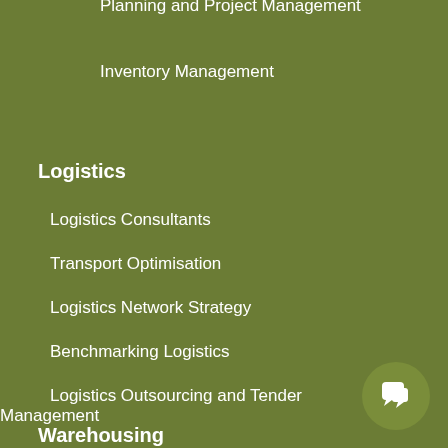Planning and Project Management
Inventory Management
Logistics
Logistics Consultants
Transport Optimisation
Logistics Network Strategy
Benchmarking Logistics
Logistics Outsourcing and Tender Management
Warehousing
Warehouse Consultants